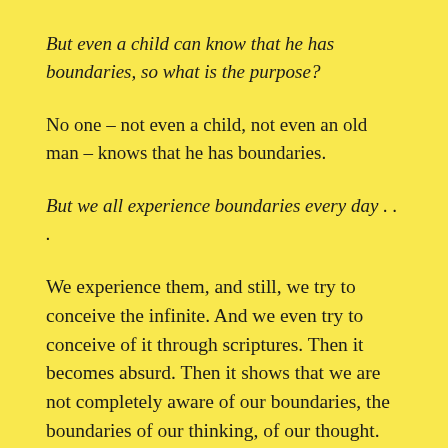But even a child can know that he has boundaries, so what is the purpose?
No one – not even a child, not even an old man – knows that he has boundaries.
But we all experience boundaries every day . . .
We experience them, and still, we try to conceive the infinite. And we even try to conceive of it through scriptures. Then it becomes absurd. Then it shows that we are not completely aware of our boundaries, the boundaries of our thinking, of our thought. We are not aware of them. And the mind feels